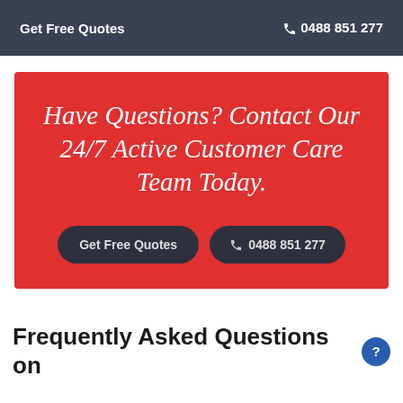Get Free Quotes  ☎ 0488 851 277
Have Questions? Contact Our 24/7 Active Customer Care Team Today.
Get Free Quotes
☎ 0488 851 277
Frequently Asked Questions on